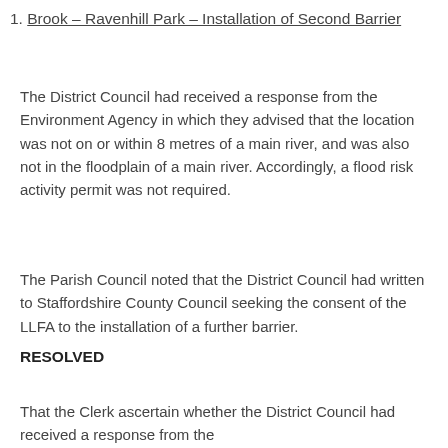1. Brook – Ravenhill Park – Installation of Second Barrier
The District Council had received a response from the Environment Agency in which they advised that the location was not on or within 8 metres of a main river, and was also not in the floodplain of a main river.  Accordingly, a flood risk activity permit was not required.
The Parish Council noted that the District Council had written to Staffordshire County Council seeking the consent of the LLFA to the installation of a further barrier.
RESOLVED
That the Clerk ascertain whether the District Council had received a response from the